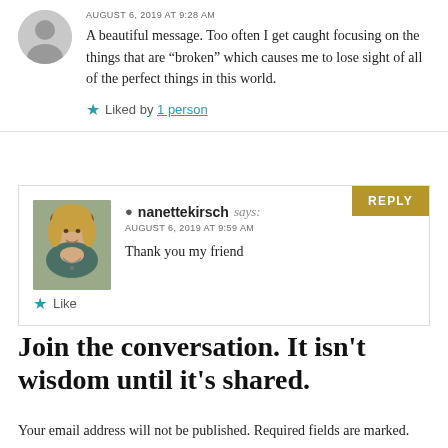AUGUST 6, 2019 AT 9:28 AM
A beautiful message. Too often I get caught focusing on the things that are “broken” which causes me to lose sight of all of the perfect things in this world.
Liked by 1 person
nanettekirsch says:
AUGUST 6, 2019 AT 9:59 AM
Thank you my friend
Like
Join the conversation. It isn't wisdom until it's shared.
Your email address will not be published. Required fields are marked.